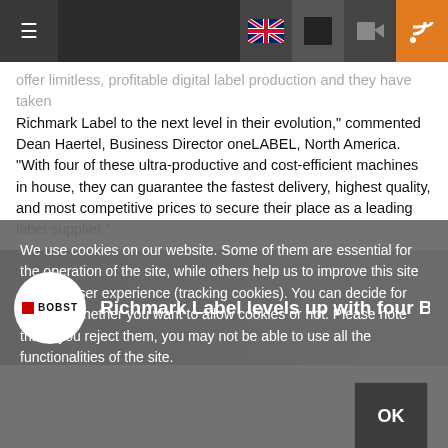Navigation header with hamburger menu, UK flag, video icon, and RSS icon
offer limitless, profitable digital label production and they have taken Richmark Label to the next level in their evolution," commented Dean Haertel, Business Director oneLABEL, North America. "With four of these ultra-productive and cost-efficient machines in house, they can guarantee the fastest delivery, highest quality, and most competitive prices to secure their place as a leading label supplier."
[Figure (screenshot): BOBST branded video thumbnail showing 'Richmark Label levels up with four BOBST dig...' with BOBST logo circle on left]
We use cookies on our website. Some of them are essential for the operation of the site, while others help us to improve this site and the user experience (tracking cookies). You can decide for yourself whether you want to allow cookies or not. Please note that if you reject them, you may not be able to use all the functionalities of the site.
OK
More information